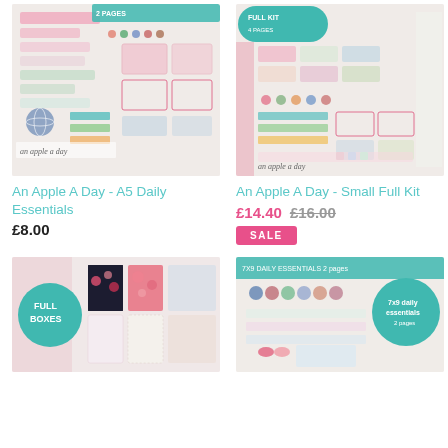[Figure (photo): An Apple A Day A5 Daily Essentials planner sticker kit product photo showing pink, teal, and green sticker sheets]
An Apple A Day - A5 Daily Essentials
£8.00
[Figure (photo): An Apple A Day Small Full Kit planner sticker kit product photo showing full kit 4 pages]
An Apple A Day - Small Full Kit
£14.40  £16.00
SALE
[Figure (photo): Planner sticker kit with full boxes, pink floral and dark patterns, teal full boxes badge]
[Figure (photo): An Apple A Day 7x9 daily essentials planner sticker kit product photo with teal badge]